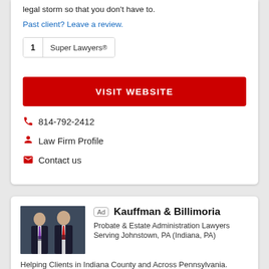legal storm so that you don't have to.
Past client? Leave a review.
1  Super Lawyers®
VISIT WEBSITE
📞 814-792-2412
👤 Law Firm Profile
✉ Contact us
[Figure (photo): Two men in suits posing for a professional photo]
Ad  Kauffman & Billimoria
Probate & Estate Administration Lawyers
Serving Johnstown, PA (Indiana, PA)
Helping Clients in Indiana County and Across Pennsylvania.